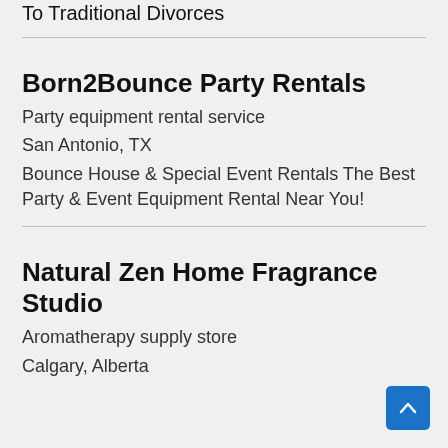To Traditional Divorces
Born2Bounce Party Rentals
Party equipment rental service
San Antonio, TX
Bounce House & Special Event Rentals The Best Party & Event Equipment Rental Near You!
Natural Zen Home Fragrance Studio
Aromatherapy supply store
Calgary, Alberta